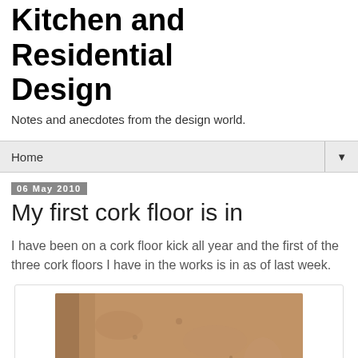Kitchen and Residential Design
Notes and anecdotes from the design world.
Home ▼
06 May 2010
My first cork floor is in
I have been on a cork floor kick all year and the first of the three cork floors I have in the works is in as of last week.
[Figure (photo): Close-up photo of an installed cork floor showing the natural texture and warm brown tones of the cork material.]